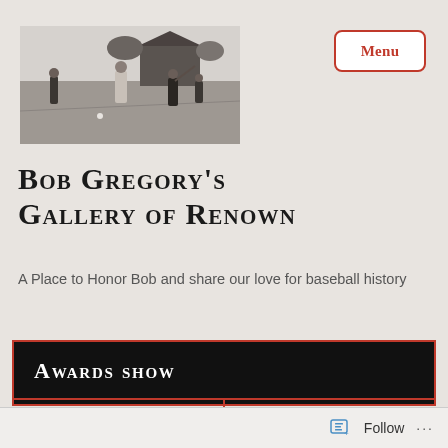[Figure (photo): Black and white vintage photo of people playing baseball on a field with a barn in the background]
[Figure (other): Menu button — rounded rectangle with red border and red bold text 'Menu']
Bob Gregory's Gallery of Renown
A Place to Honor Bob and share our love for baseball history
Awards show
25 MAY
1 COMMENT
Follow ...